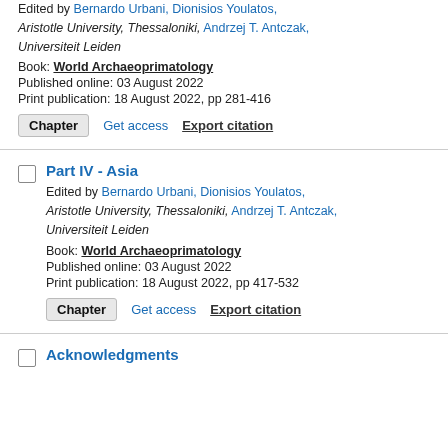Edited by Bernardo Urbani, Dionisios Youlatos, Aristotle University, Thessaloniki, Andrzej T. Antczak, Universiteit Leiden
Book: World Archaeoprimatology
Published online: 03 August 2022
Print publication: 18 August 2022, pp 281-416
Chapter   Get access   Export citation
Part IV - Asia
Edited by Bernardo Urbani, Dionisios Youlatos, Aristotle University, Thessaloniki, Andrzej T. Antczak, Universiteit Leiden
Book: World Archaeoprimatology
Published online: 03 August 2022
Print publication: 18 August 2022, pp 417-532
Chapter   Get access   Export citation
Acknowledgments